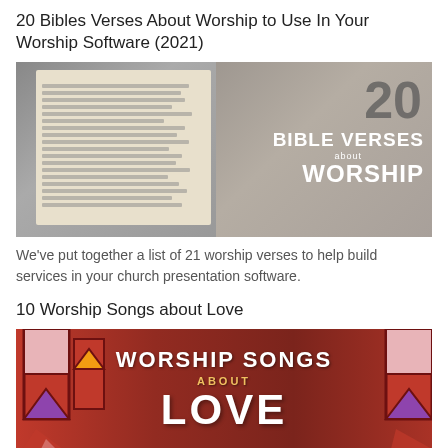20 Bibles Verses About Worship to Use In Your Worship Software (2021)
[Figure (photo): Open Bible on a wooden surface with text overlay reading '20 BIBLE VERSES about WORSHIP']
We've put together a list of 21 worship verses to help build services in your church presentation software.
10 Worship Songs about Love
[Figure (photo): Stained glass window background with text overlay reading 'WORSHIP SONGS ABOUT LOVE']